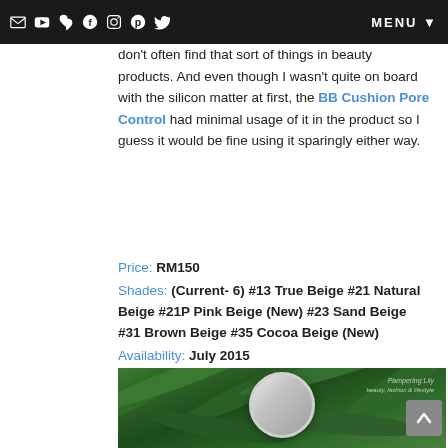MENU
product is how its cooling sensation reduces the skin's temperature by 3 degrees Celsius. You don't often find that sort of things in beauty products. And even though I wasn't quite on board with the silicon matter at first, the BB Cushion Pore Control had minimal usage of it in the product so I guess it would be fine using it sparingly either way.
Price: RM150
Shades: (Current- 6) #13 True Beige #21 Natural Beige #21P Pink Beige (New) #23 Sand Beige #31 Brown Beige #35 Cocoa Beige (New)
Availability: July 2015
[Figure (photo): A BB cushion compact product photographed outdoors among green plants/grass. A watermark reads 'Pampering Lily' in the top right corner.]